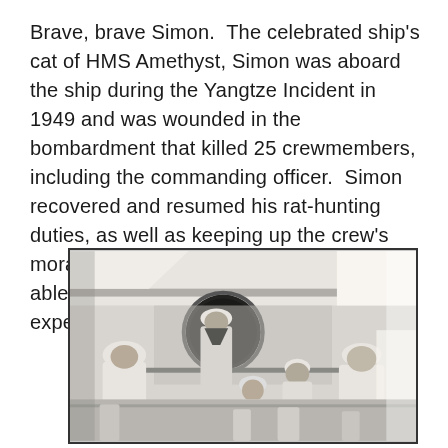Brave, brave Simon.  The celebrated ship's cat of HMS Amethyst, Simon was aboard the ship during the Yangtze Incident in 1949 and was wounded in the bombardment that killed 25 crewmembers, including the commanding officer.  Simon recovered and resumed his rat-hunting duties, as well as keeping up the crew's morale. He was appointed to the rank of able seacat. “Simon’s company and expertise as a rat-catcher
[Figure (photo): Black and white photograph showing several sailors in white uniforms gathered on the deck of HMS Amethyst, with a large circular gun turret or ventilation shaft visible in the background. Some sailors are seated, some crouching. The scene appears to be aboard the ship.]